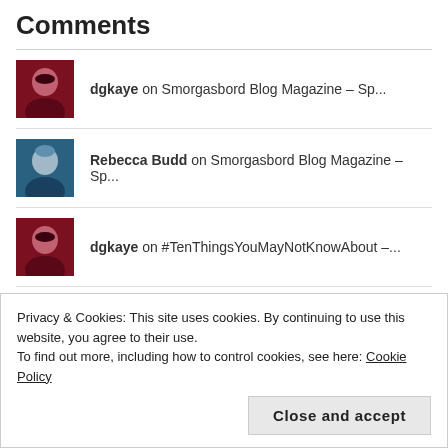Comments
dgkaye on Smorgasbord Blog Magazine – Sp...
Rebecca Budd on Smorgasbord Blog Magazine – Sp...
dgkaye on #TenThingsYouMayNotKnowAbout –...
Privacy & Cookies: This site uses cookies. By continuing to use this website, you agree to their use. To find out more, including how to control cookies, see here: Cookie Policy
Close and accept